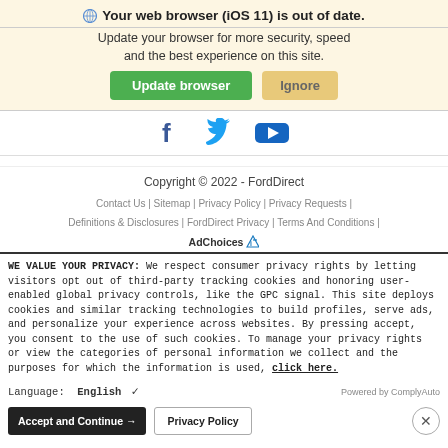Your web browser (iOS 11) is out of date.
Update your browser for more security, speed and the best experience on this site.
[Figure (screenshot): Update browser and Ignore buttons]
[Figure (logo): Facebook, Twitter, YouTube social media icons]
Copyright © 2022 - FordDirect
Contact Us | Sitemap | Privacy Policy | Privacy Requests | Definitions & Disclosures | FordDirect Privacy | Terms And Conditions |
AdChoices
WE VALUE YOUR PRIVACY: We respect consumer privacy rights by letting visitors opt out of third-party tracking cookies and honoring user-enabled global privacy controls, like the GPC signal. This site deploys cookies and similar tracking technologies to build profiles, serve ads, and personalize your experience across websites. By pressing accept, you consent to the use of such cookies. To manage your privacy rights or view the categories of personal information we collect and the purposes for which the information is used, click here.
Language:  English    ∨    Powered by ComplyAuto
Accept and Continue →    Privacy Policy    ×